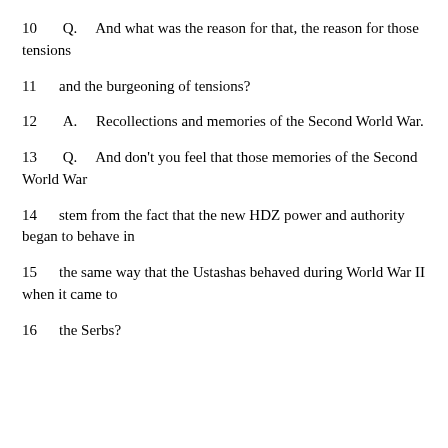10    Q.  And what was the reason for that, the reason for those tensions
11    and the burgeoning of tensions?
12    A.  Recollections and memories of the Second World War.
13    Q.  And don't you feel that those memories of the Second World War
14    stem from the fact that the new HDZ power and authority began to behave in
15    the same way that the Ustashas behaved during World War II when it came to
16    the Serbs?